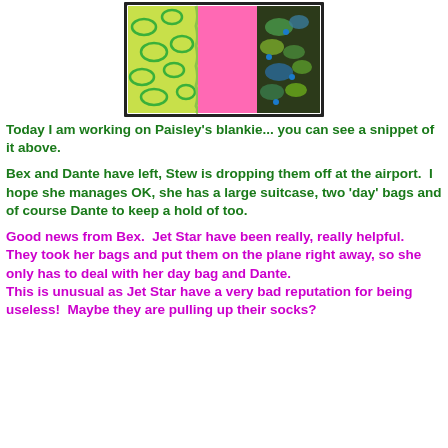[Figure (photo): A close-up snippet of a colorful patchwork blanket showing green/yellow patterned fabric, pink fleece, and dark blue/green paisley fabric.]
Today I am working on Paisley's blankie... you can see a snippet of it above.
Bex and Dante have left, Stew is dropping them off at the airport.  I hope she manages OK, she has a large suitcase, two 'day' bags and of course Dante to keep a hold of too.
Good news from Bex.  Jet Star have been really, really helpful.  They took her bags and put them on the plane right away, so she only has to deal with her day bag and Dante.
This is unusual as Jet Star have a very bad reputation for being useless!  Maybe they are pulling up their socks?